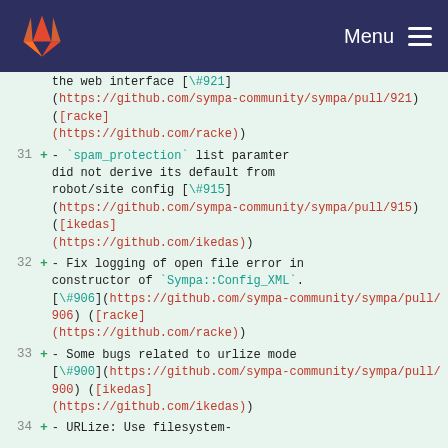GitLab | Menu
the web interface [\#921](https://github.com/sympa-community/sympa/pull/921) ([racke](https://github.com/racke))
31 + - `spam_protection` list paramter did not derive its default from robot/site config [\#915](https://github.com/sympa-community/sympa/pull/915) ([ikedas](https://github.com/ikedas))
32 + - Fix logging of open file error in constructor of `Sympa::Config_XML`. [\#906](https://github.com/sympa-community/sympa/pull/906) ([racke](https://github.com/racke))
33 + - Some bugs related to urlize mode [\#900](https://github.com/sympa-community/sympa/pull/900) ([ikedas](https://github.com/ikedas))
34 + - URLize: Use filesystem-